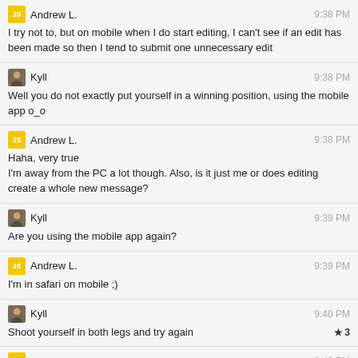Andrew L. 9:38 PM — I try not to, but on mobile when I do start editing, I can't see if an edit has been made so then I tend to submit one unnecessary edit
Kyll 9:38 PM — Well you do not exactly put yourself in a winning position, using the mobile app o_o
Andrew L. 9:38 PM — Haha, very true. I'm away from the PC a lot though. Also, is it just me or does editing create a whole new message?
Kyll 9:39 PM — Are you using the mobile app again?
Andrew L. 9:39 PM — I'm in safari on mobile ;)
Kyll 9:40 PM — Shoot yourself in both legs and try again ★3
Andrew L. 9:40 PM — Already did.
Kyll 9:40 PM — Oh yeah, you did. xD
Andrew L. 9:41 PM